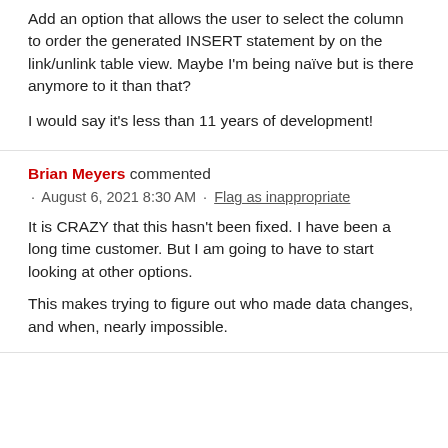Add an option that allows the user to select the column to order the generated INSERT statement by on the link/unlink table view. Maybe I'm being naïve but is there anymore to it than that?
I would say it's less than 11 years of development!
Brian Meyers commented
· August 6, 2021 8:30 AM · Flag as inappropriate
It is CRAZY that this hasn't been fixed. I have been a long time customer. But I am going to have to start looking at other options.
This makes trying to figure out who made data changes, and when, nearly impossible.